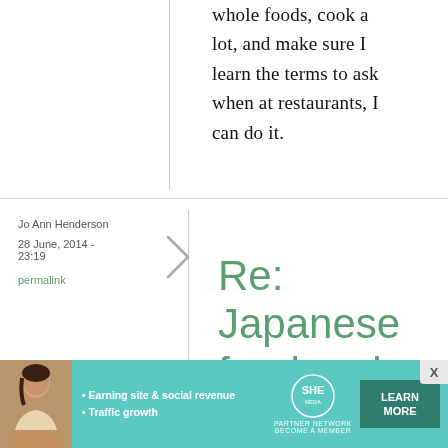whole foods, cook a lot, and make sure I learn the terms to ask when at restaurants, I can do it.
Jo Ann Henderson
28 June, 2014 - 23:19
permalink
Re: Japanese food and beverages for
[Figure (infographic): SHE Media Partner Network advertisement banner with woman photo, bullet points about Earning site & social revenue and Traffic growth, SHE logo, and LEARN MORE button]